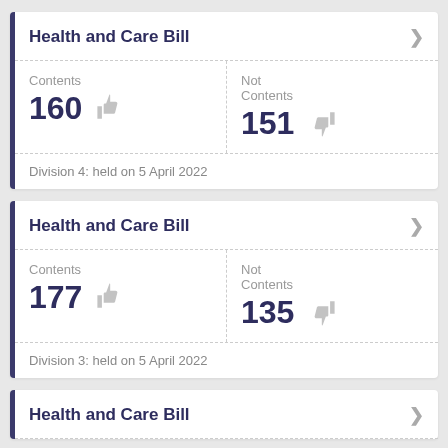Health and Care Bill
Contents 160
Not Contents 151
Division 4: held on 5 April 2022
Health and Care Bill
Contents 177
Not Contents 135
Division 3: held on 5 April 2022
Health and Care Bill